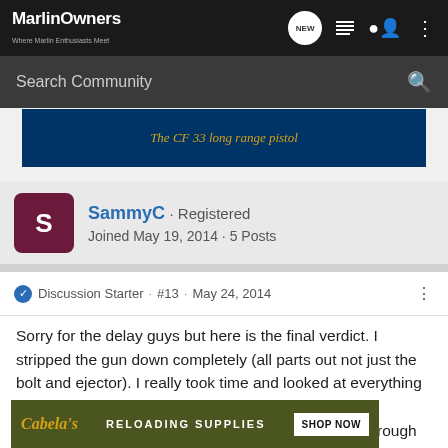MarlinOwners — Where Marlin Enthusiasts Meet
Search Community
[Figure (screenshot): Blue ad banner showing 'The CF 33 long range pistol']
SammyC · Registered
Joined May 19, 2014 · 5 Posts
Discussion Starter · #13 · May 24, 2014
Sorry for the delay guys but here is the final verdict. I stripped the gun down completely (all parts out not just the bolt and ejector). I really took time and looked at everything inside the receiver and to my dismay (and delight!) discovered this thing was filthy! What I thought were rough machining marks the first teardown was in fact layers of friggin' gunk that I cannot imagine ... ed it with a to ... it looks
[Figure (screenshot): Cabela's advertisement banner: RELOADING SUPPLIES · SHOP NOW]